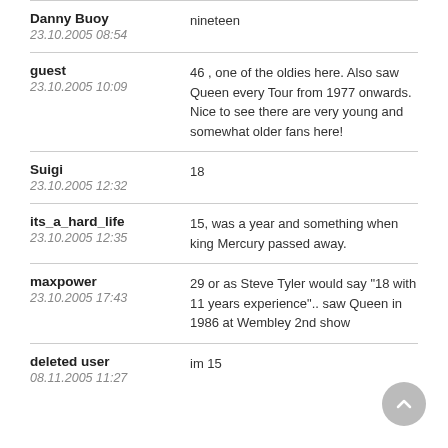Danny Buoy
23.10.2005 08:54
ninteen
guest
23.10.2005 10:09
46 , one of the oldies here. Also saw Queen every Tour from 1977 onwards. Nice to see there are very young and somewhat older fans here!
Suigi
23.10.2005 12:32
18
its_a_hard_life
23.10.2005 12:35
15, was a year and something when king Mercury passed away.
maxpower
23.10.2005 17:43
29 or as Steve Tyler would say "18 with 11 years experience".. saw Queen in 1986 at Wembley 2nd show
deleted user
08.11.2005 11:27
im 15